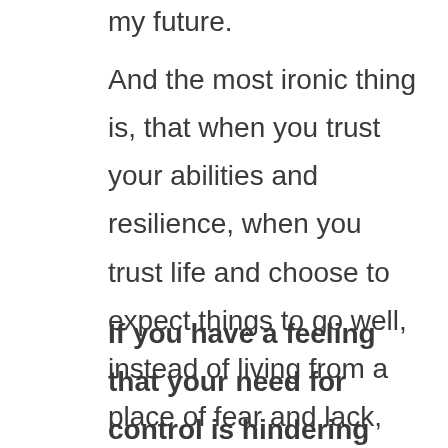my future.
And the most ironic thing is, that when you trust your abilities and resilience, when you trust life and choose to expect things to go well, instead of living from a place of fear and lack, life is so much juicier and rewarding with so much less striving and effort.
If you have a feeling that your need for control is hindering your happiness, health or success, book a free no-obligation call with me to discuss the way